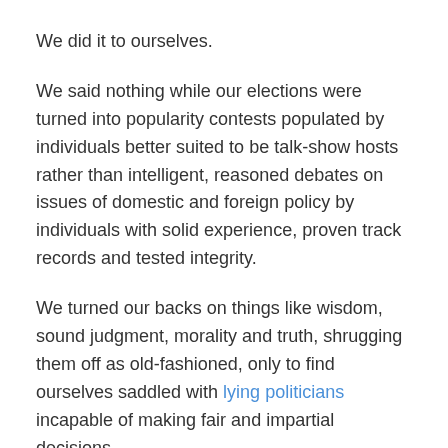We did it to ourselves.
We said nothing while our elections were turned into popularity contests populated by individuals better suited to be talk-show hosts rather than intelligent, reasoned debates on issues of domestic and foreign policy by individuals with solid experience, proven track records and tested integrity.
We turned our backs on things like wisdom, sound judgment, morality and truth, shrugging them off as old-fashioned, only to find ourselves saddled with lying politicians incapable of making fair and impartial decisions.
We let ourselves be persuaded that those yokels in Washington could do a better job of running this country than we could. It’s not a new problem. As former Senator